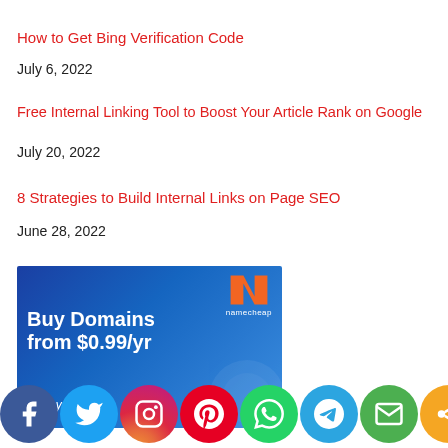How to Get Bing Verification Code
July 6, 2022
Free Internal Linking Tool to Boost Your Article Rank on Google
July 20, 2022
8 Strategies to Build Internal Links on Page SEO
June 28, 2022
[Figure (illustration): Namecheap advertisement: Buy Domains from $0.99/yr. Start your... Blue background with Namecheap logo (orange N) and white bold text.]
[Figure (infographic): Social media sharing bar with circular icons: Facebook, Twitter, Instagram, Pinterest, WhatsApp, Telegram, Email, Share]